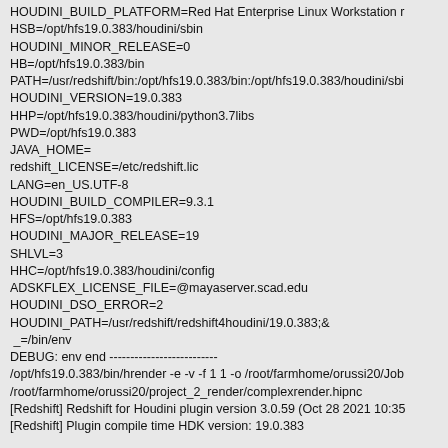HOUDINI_BUILD_PLATFORM=Red Hat Enterprise Linux Workstation r
HSB=/opt/hfs19.0.383/houdini/sbin
HOUDINI_MINOR_RELEASE=0
HB=/opt/hfs19.0.383/bin
PATH=/usr/redshift/bin:/opt/hfs19.0.383/bin:/opt/hfs19.0.383/houdini/sbi
HOUDINI_VERSION=19.0.383
HHP=/opt/hfs19.0.383/houdini/python3.7libs
PWD=/opt/hfs19.0.383
JAVA_HOME=
redshift_LICENSE=/etc/redshift.lic
LANG=en_US.UTF-8
HOUDINI_BUILD_COMPILER=9.3.1
HFS=/opt/hfs19.0.383
HOUDINI_MAJOR_RELEASE=19
SHLVL=3
HHC=/opt/hfs19.0.383/houdini/config
ADSKFLEX_LICENSE_FILE=@mayaserver.scad.edu
HOUDINI_DSO_ERROR=2
HOUDINI_PATH=/usr/redshift/redshift4houdini/19.0.383;&
_=/bin/env
DEBUG: env end --------------------------
/opt/hfs19.0.383/bin/hrender -e -v -f 1 1 -o /root/farmhome/orussi20/Job
/root/farmhome/orussi20/project_2_render/complexrender.hipnc
[Redshift] Redshift for Houdini plugin version 3.0.59 (Oct 28 2021 10:35
[Redshift] Plugin compile time HDK version: 19.0.383